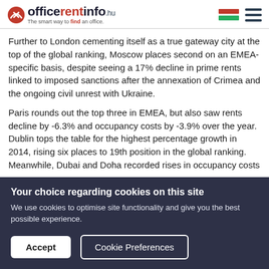officerentinfo.hu — The smart way to find an office.
Further to London cementing itself as a true gateway city at the top of the global ranking, Moscow places second on an EMEA-specific basis, despite seeing a 17% decline in prime rents linked to imposed sanctions after the annexation of Crimea and the ongoing civil unrest with Ukraine.
Paris rounds out the top three in EMEA, but also saw rents decline by -6.3% and occupancy costs by -3.9% over the year. Dublin tops the table for the highest percentage growth in 2014, rising six places to 19th position in the global ranking. Meanwhile, Dubai and Doha recorded rises in occupancy costs
Your choice regarding cookies on this site
We use cookies to optimise site functionality and give you the best possible experience.
Accept | Cookie Preferences